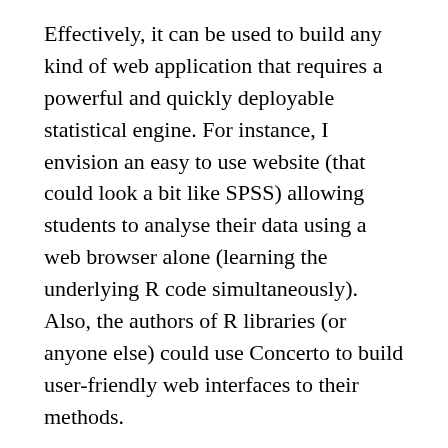Effectively, it can be used to build any kind of web application that requires a powerful and quickly deployable statistical engine. For instance, I envision an easy to use website (that could look a bit like SPSS) allowing students to analyse their data using a web browser alone (learning the underlying R code simultaneously). Also, the authors of R libraries (or anyone else) could use Concerto to build user-friendly web interfaces to their methods.
Finally, Concerto can be conveniently used to build simple non-adaptive tests and questionnaires. It might seem to be slightly less intuitive at first than popular questionnaire services (such us my favourite